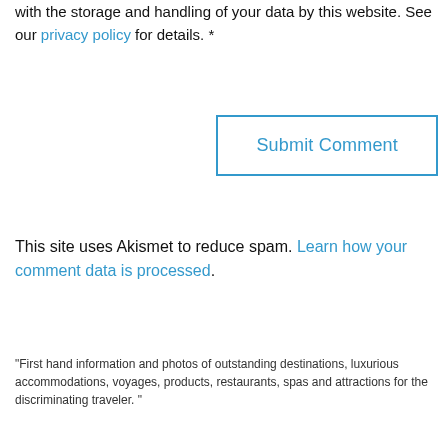considered a their alternative agreement with the storage and handling of your data by this website. See our privacy policy for details. *
Submit Comment
This site uses Akismet to reduce spam. Learn how your comment data is processed.
"First hand information and photos of outstanding destinations, luxurious accommodations, voyages, products, restaurants, spas and attractions for the discriminating traveler. "